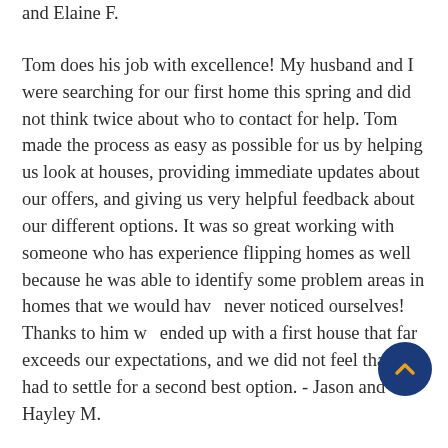and Elaine F.
Tom does his job with excellence! My husband and I were searching for our first home this spring and did not think twice about who to contact for help. Tom made the process as easy as possible for us by helping us look at houses, providing immediate updates about our offers, and giving us very helpful feedback about our different options. It was so great working with someone who has experience flipping homes as well because he was able to identify some problem areas in homes that we would have never noticed ourselves! Thanks to him we ended up with a first house that far exceeds our expectations, and we did not feel that we had to settle for a second best option. - Jason and Hayley M.